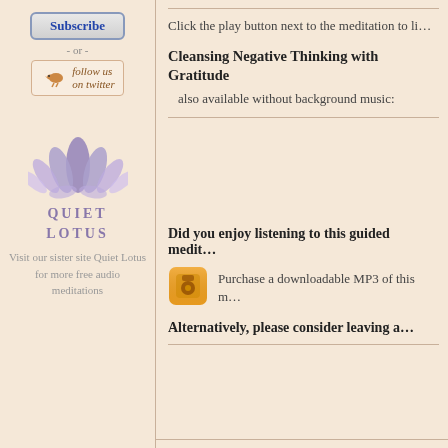[Figure (other): Subscribe button with blue border and bold blue text]
- or -
[Figure (other): Follow us on Twitter button with bird icon]
[Figure (logo): Quiet Lotus purple lotus flower logo with QUIET LOTUS text]
Visit our sister site Quiet Lotus for more free audio meditations
Click the play button next to the meditation to li...
Cleansing Negative Thinking with Gratitude
also available without background music:
Did you enjoy listening to this guided medit...
[Figure (other): Orange MP3 download icon]
Purchase a downloadable MP3 of this m...
Alternatively, please consider leaving a...